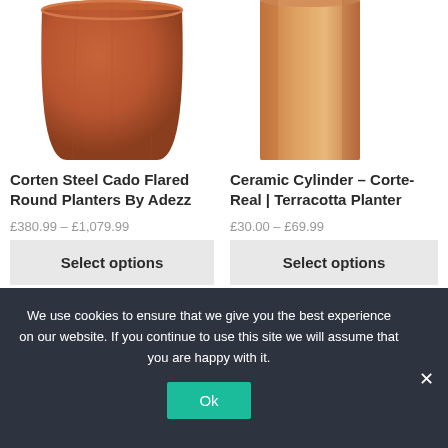[Figure (photo): Terracotta/corten steel round flared planter, top portion visible]
[Figure (photo): Ceramic cylinder terracotta planter, top portion visible]
Corten Steel Cado Flared Round Planters By Adezz
Ceramic Cylinder – Corte-Real | Terracotta Planter
£380.99 – £1,079.99
£30.00 – £69.99
Select options
Select options
We use cookies to ensure that we give you the best experience on our website. If you continue to use this site we will assume that you are happy with it.
Ok